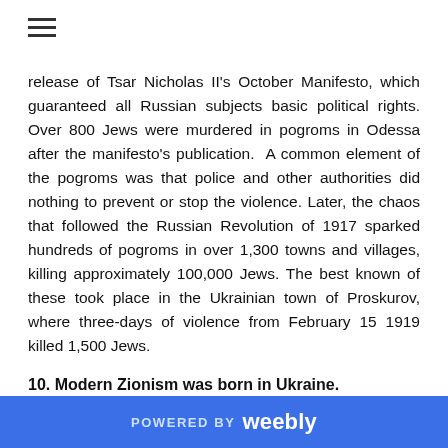release of Tsar Nicholas II's October Manifesto, which guaranteed all Russian subjects basic political rights. Over 800 Jews were murdered in pogroms in Odessa after the manifesto's publication. A common element of the pogroms was that police and other authorities did nothing to prevent or stop the violence. Later, the chaos that followed the Russian Revolution of 1917 sparked hundreds of pogroms in over 1,300 towns and villages, killing approximately 100,000 Jews. The best known of these took place in the Ukrainian town of Proskurov, where three-days of violence from February 15 1919 killed 1,500 Jews.
10. Modern Zionism was born in Ukraine.
Following the pogroms of 1881, a group of Jewish students concluded that the only way Jews could live in
POWERED BY weebly